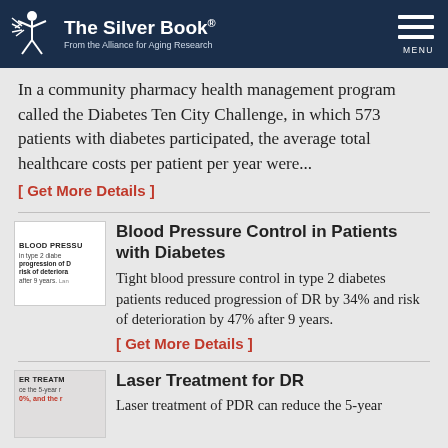The Silver Book® From the Alliance for Aging Research
In a community pharmacy health management program called the Diabetes Ten City Challenge, in which 573 patients with diabetes participated, the average total healthcare costs per patient per year were...
[ Get More Details ]
[Figure (screenshot): Thumbnail image showing text about blood pressure in type 2 diabetes, progression of DR, risk of deterioration after 9 years]
Blood Pressure Control in Patients with Diabetes
Tight blood pressure control in type 2 diabetes patients reduced progression of DR by 34% and risk of deterioration by 47% after 9 years.
[ Get More Details ]
[Figure (screenshot): Thumbnail image showing text about laser treatment, 5-year reduction, 0%, and other content]
Laser Treatment for DR
Laser treatment of PDR can reduce the 5-year